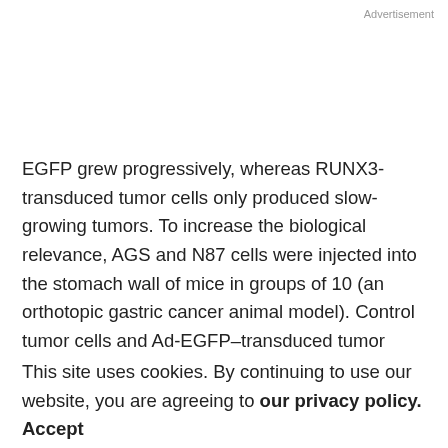Advertisement
EGFP grew progressively, whereas RUNX3-transduced tumor cells only produced slow-growing tumors. To increase the biological relevance, AGS and N87 cells were injected into the stomach wall of mice in groups of 10 (an orthotopic gastric cancer animal model). Control tumor cells and Ad-EGFP–transduced tumor cells produced larger tumors that metastasized to regional lymph nodes and the liver, whereas RUNX3-transduced tumor cells only
This site uses cookies. By continuing to use our website, you are agreeing to our privacy policy. Accept
RUNX3 expression suppressed primary gastric cancer growth and metastasis.